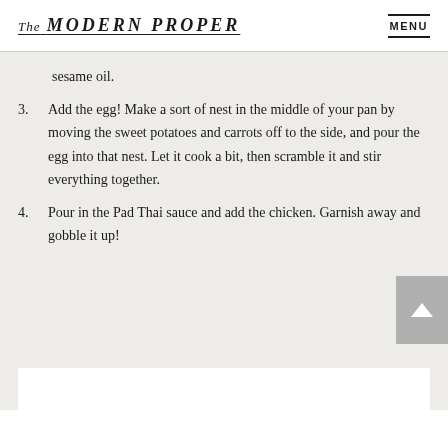The MODERN PROPER  MENU
sesame oil.
3. Add the egg! Make a sort of nest in the middle of your pan by moving the sweet potatoes and carrots off to the side, and pour the egg into that nest. Let it cook a bit, then scramble it and stir everything together.
4. Pour in the Pad Thai sauce and add the chicken. Garnish away and gobble it up!